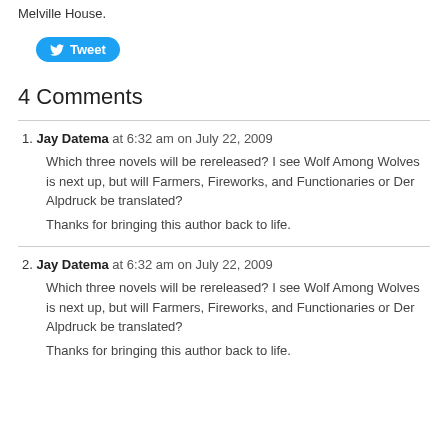Melville House.
[Figure (other): Twitter Tweet button with bird logo]
4 Comments
1. Jay Datema at 6:32 am on July 22, 2009 — Which three novels will be rereleased? I see Wolf Among Wolves is next up, but will Farmers, Fireworks, and Functionaries or Der Alpdruck be translated? Thanks for bringing this author back to life.
2. Jay Datema at 6:32 am on July 22, 2009 — Which three novels will be rereleased? I see Wolf Among Wolves is next up, but will Farmers, Fireworks, and Functionaries or Der Alpdruck be translated? Thanks for bringing this author back to life.